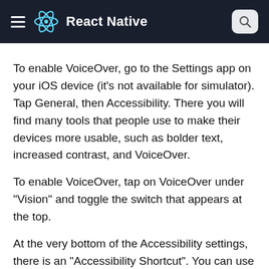React Native
To enable VoiceOver, go to the Settings app on your iOS device (it's not available for simulator). Tap General, then Accessibility. There you will find many tools that people use to make their devices more usable, such as bolder text, increased contrast, and VoiceOver.
To enable VoiceOver, tap on VoiceOver under "Vision" and toggle the switch that appears at the top.
At the very bottom of the Accessibility settings, there is an "Accessibility Shortcut". You can use this to toggle VoiceOver by triple clicking the Home